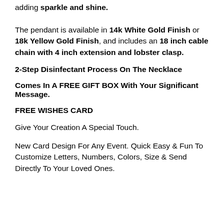adding sparkle and shine. The pendant is available in 14k White Gold Finish or 18k Yellow Gold Finish, and includes an 18 inch cable chain with 4 inch extension and lobster clasp.
2-Step Disinfectant Process On The Necklace
Comes In A FREE GIFT BOX With Your Significant Message.
FREE WISHES CARD
Give Your Creation A Special Touch.
New Card Design For Any Event. Quick Easy & Fun To Customize Letters, Numbers, Colors, Size & Send Directly To Your Loved Ones.